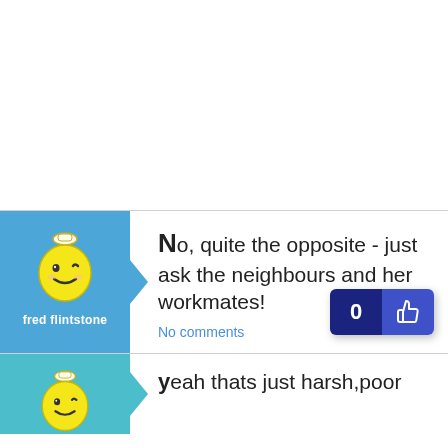No, quite the opposite - just ask the neighbours and her workmates!
fred flintstone
No comments
yeah thats just harsh,poor